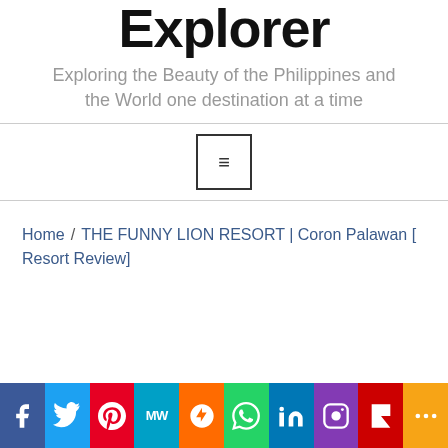Angels The Explorer
Exploring the Beauty of the Philippines and the World one destination at a time
[Figure (other): Navigation menu hamburger button icon (three horizontal lines in a square border)]
Home / THE FUNNY LION RESORT | Coron Palawan [ Resort Review]
[Figure (other): Social media sharing bar with icons for Facebook, Twitter, Pinterest, MeWe, Mix, WhatsApp, LinkedIn, Instagram, Flipboard, and More]